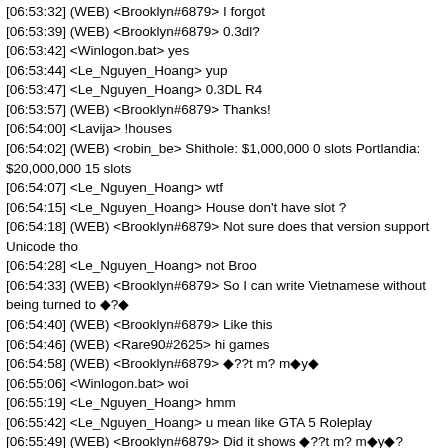[06:53:32] (WEB) <Brooklyn#6879> I forgot
[06:53:39] (WEB) <Brooklyn#6879> 0.3dl?
[06:53:42] <Winlogon.bat> yes
[06:53:44] <Le_Nguyen_Hoang> yup
[06:53:47] <Le_Nguyen_Hoang> 0.3DL R4
[06:53:57] (WEB) <Brooklyn#6879> Thanks!
[06:54:00] <Lavija> !houses
[06:54:02] (WEB) <robin_be> Shithole: $1,000,000 0 slots Portlandia: $20,000,000 15 slots
[06:54:07] <Le_Nguyen_Hoang> wtf
[06:54:15] <Le_Nguyen_Hoang> House don't have slot ?
[06:54:18] (WEB) <Brooklyn#6879> Not sure does that version support Unicode tho
[06:54:28] <Le_Nguyen_Hoang> not Broo
[06:54:33] (WEB) <Brooklyn#6879> So I can write Vietnamese without being turned to �?�
[06:54:40] (WEB) <Brooklyn#6879> Like this
[06:54:46] (WEB) <Rare90#2625> hi games
[06:54:58] (WEB) <Brooklyn#6879> �??t m? m�y�
[06:55:06] <Winlogon.bat> woi
[06:55:19] <Le_Nguyen_Hoang> hmm
[06:55:42] <Le_Nguyen_Hoang> u mean like GTA 5 Roleplay
[06:55:49] (WEB) <Brooklyn#6879> Did it shows �??t m? m�y�?
[06:55:57] <Le_Nguyen_Hoang> yup